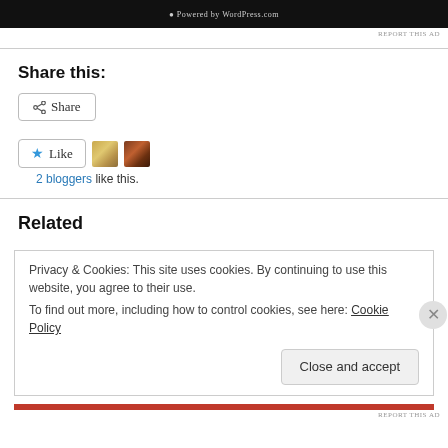[Figure (screenshot): Advertisement bar showing WordPress.com logo and 'Powered by WordPress.com' text on dark background]
REPORT THIS AD
Share this:
Share button
Like button with 2 blogger avatars
2 bloggers like this.
Related
Privacy & Cookies: This site uses cookies. By continuing to use this website, you agree to their use.
To find out more, including how to control cookies, see here: Cookie Policy
Close and accept